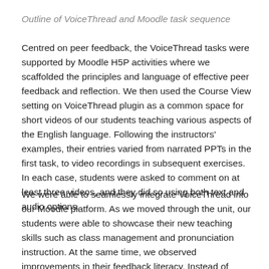Outline of VoiceThread and Moodle task sequence
Centred on peer feedback, the VoiceThread tasks were supported by Moodle H5P activities where we scaffolded the principles and language of effective peer feedback and reflection. We then used the Course View setting on VoiceThread plugin as a common space for short videos of our students teaching various aspects of the English language. Following the instructors' examples, their entries varied from narrated PPTs in the first task, to video recordings in subsequent exercises. In each case, students were asked to comment on at least three videos, and they did so using both text and audio options.
We were able to seamlessly integrate VoiceThread into our Moodle platform. As we moved through the unit, our students were able to showcase their new teaching skills such as class management and pronunciation instruction. At the same time, we observed improvements in their feedback literacy. Instead of 'Great job!' or 'I agree with